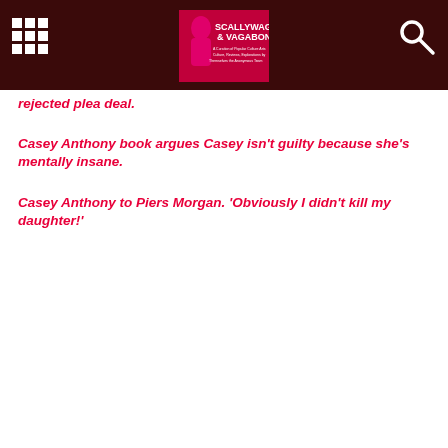Scallywag & Vagabond
rejected plea deal.
Casey Anthony book argues Casey isn't guilty because she's mentally insane.
Casey Anthony to Piers Morgan. ‘Obviously I didn’t kill my daughter!’